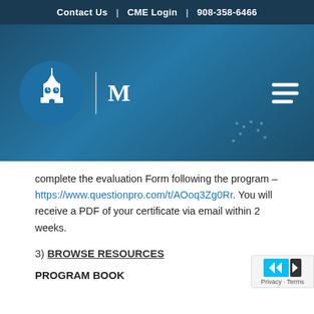Contact Us | CME Login | 908-358-6466
[Figure (logo): Medical institution logo with clock tower building icon in a blue circle, letter M, and hamburger menu icon on a dark blue gradient background]
complete the evaluation Form following the program – https://www.questionpro.com/t/AOoq3Zg0Rr. You will receive a PDF of your certificate via email within 2 weeks.
3) BROWSE RESOURCES
PROGRAM BOOK